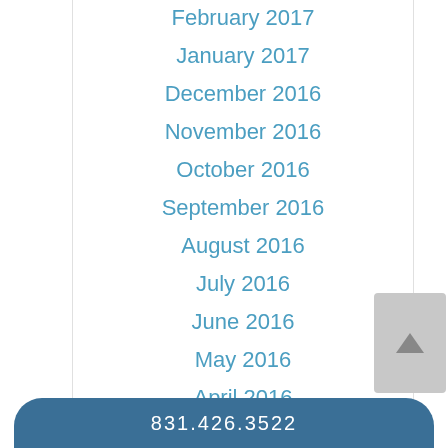February 2017
January 2017
December 2016
November 2016
October 2016
September 2016
August 2016
July 2016
June 2016
May 2016
April 2016
March 2016
831.426.3522